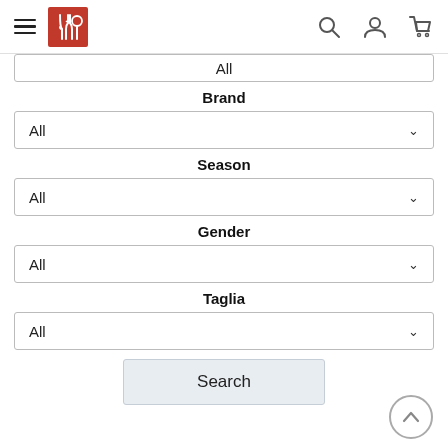[Figure (screenshot): Top navigation bar with hamburger menu, red logo, search icon, user icon, and cart icon]
All
Brand
All
Season
All
Gender
All
Taglia
All
Search